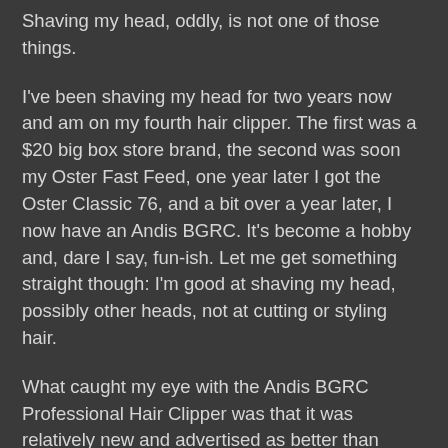Shaving my head, oddly, is not one of those things.
I've been shaving my head for two years now and am on my fourth hair clipper. The first was a $20 big box store brand, the second was soon my Oster Fast Feed, one year later I got the Oster Classic 76, and a bit over a year later, I now have an Andis BGRC. It's become a hobby and, dare I say, fun-ish. Let me get something straight though: I'm good at shaving my head, possibly other heads, not at cutting or styling hair.
What caught my eye with the Andis BGRC Professional Hair Clipper was that it was relatively new and advertised as better than "similar clippers". With the hair clipper market being not so big, I believe the Oster Classic 76 is one of the main competitors. But that didn't sell me alone. I won't lie, when I first got my Oster Classic 76, I had a bit of buyer's remorse.
The Classic 76 was big, round, loud, had vents that blew air in my face, and was a bit on the high maintenance side. Owners are supposed to open up the clipper on a regular